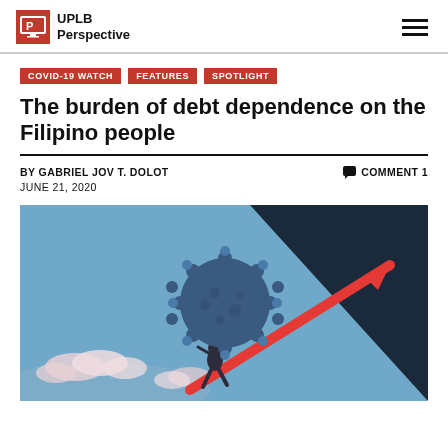UPLB Perspective
COVID-19 WATCH  FEATURES  SPOTLIGHT
The burden of debt dependence on the Filipino people
BY GABRIEL JOV T. DOLOT
COMMENT 1
JUNE 21, 2020
[Figure (illustration): Illustration of a figure carrying a large COVID-19 virus up a rising red arrow against a blue sky background with clouds, symbolizing the burden of debt during the pandemic.]